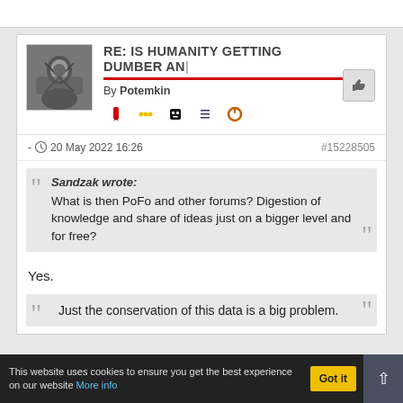RE: IS HUMANITY GETTING DUMBER AN
By Potemkin
- 20 May 2022 16:26   #15228505
Sandzak wrote: What is then PoFo and other forums? Digestion of knowledge and share of ideas just on a bigger level and for free?
Yes.
Just the conservation of this data is a big problem.
This website uses cookies to ensure you get the best experience on our website More info